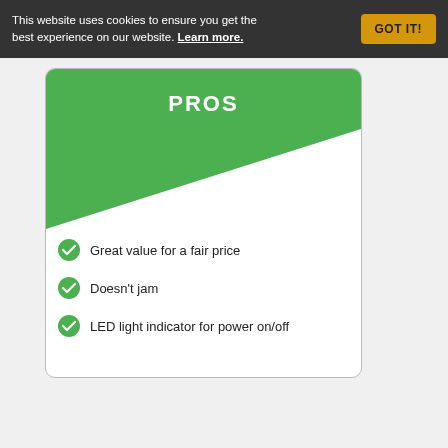This website uses cookies to ensure you get the best experience on our website. Learn more.
PROS
Great value for a fair price
Doesn't jam
LED light indicator for power on/off